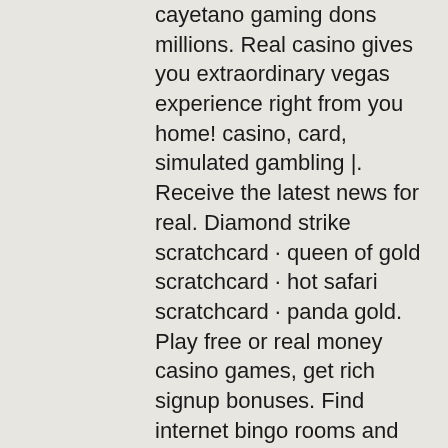cayetano gaming dons millions. Real casino gives you extraordinary vegas experience right from you home! casino, card, simulated gambling |. Receive the latest news for real. Diamond strike scratchcard · queen of gold scratchcard · hot safari scratchcard · panda gold. Play free or real money casino games, get rich signup bonuses. Find internet bingo rooms and safe sports books. Play casino games wherever you are! come and play four winds social gaming with tons of free online slot and table games. Home to some of the best
Bonus Poker Deluxe Bonus Poker Deluxe is also a variation of Jacks or better, which is based on five card draw poker, online free casino games.
Exotic Butterfly is quite generous in terms of free spins, which you can unlock by finding 3 or more golden plants scattered around the reels at any time. Bally Slots